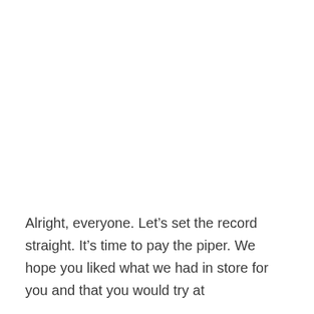Alright, everyone. Let's set the record straight. It's time to pay the piper. We hope you liked what we had in store for you and that you would try at